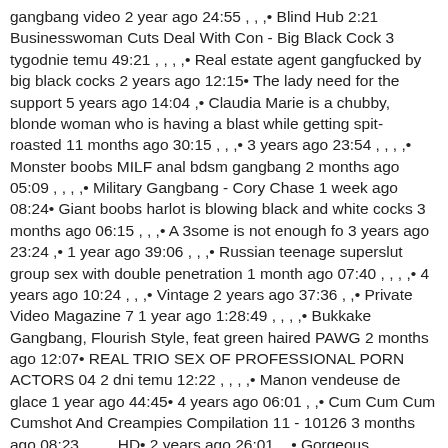gangbang video 2 year ago 24:55 , , ,• Blind Hub 2:21 Businesswoman Cuts Deal With Con - Big Black Cock 3 tygodnie temu 49:21 , , , ,• Real estate agent gangfucked by big black cocks 2 years ago 12:15• The lady need for the support 5 years ago 14:04 ,• Claudia Marie is a chubby, blonde woman who is having a blast while getting spit- roasted 11 months ago 30:15 , , ,• 3 years ago 23:54 , , , ,• Monster boobs MILF anal bdsm gangbang 2 months ago 05:09 , , , ,• Military Gangbang - Cory Chase 1 week ago 08:24• Giant boobs harlot is blowing black and white cocks 3 months ago 06:15 , , ,• A 3some is not enough fo 3 years ago 23:24 ,• 1 year ago 39:06 , , ,• Russian teenage superslut group sex with double penetration 1 month ago 07:40 , , , ,• 4 years ago 10:24 , , ,• Vintage 2 years ago 37:36 , ,• Private Video Magazine 7 1 year ago 1:28:49 , , , ,• Bukkake Gangbang, Flourish Style, feat green haired PAWG 2 months ago 12:07• REAL TRIO SEX OF PROFESSIONAL PORN ACTORS 04 2 dni temu 12:22 , , , ,• Manon vendeuse de glace 1 year ago 44:45• 4 years ago 06:01 , ,• Cum Cum Cum Cumshot And Creampies Compilation 11 - 10126 3 months ago 08:23 , , , , HD• 2 years ago 26:01 , ,• Gorgeous Japanese sex bomb with big naturals Hitomi Tanaka in group sex orgy 1 year ago